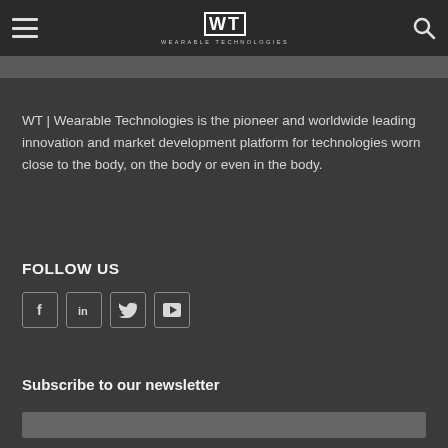WT | Wearable Technologies
WT | Wearable Technologies is the pioneer and worldwide leading innovation and market development platform for technologies worn close to the body, on the body or even in the body.
FOLLOW US
[Figure (other): Social media icons: Facebook, LinkedIn, Twitter, YouTube]
Subscribe to our newsletter